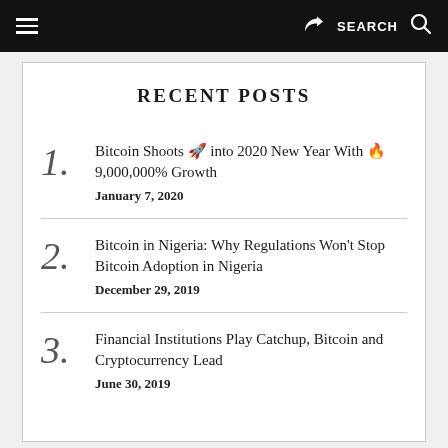≡  [share]  SEARCH  [search icon]
RECENT POSTS
Bitcoin Shoots 🚀 into 2020 New Year With 🔥 9,000,000% Growth
January 7, 2020
Bitcoin in Nigeria: Why Regulations Won't Stop Bitcoin Adoption in Nigeria
December 29, 2019
Financial Institutions Play Catchup, Bitcoin and Cryptocurrency Lead
June 30, 2019